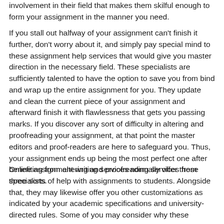involvement in their field that makes them skilful enough to form your assignment in the manner you need.
If you stall out halfway of your assignment can't finish it further, don't worry about it, and simply pay special mind to these assignment help services that would give you master direction in the necessary field. These specialists are sufficiently talented to have the option to save you from bind and wrap up the entire assignment for you. They update and clean the current piece of your assignment and afterward finish it with flawlessness that gets you passing marks. If you discover any sort of difficulty in altering and proofreading your assignment, at that point the master editors and proof-readers are here to safeguard you. Thus, your assignment ends up being the most perfect one after benefiting from altering and proofreading services from specialists.
Online assignment writing services normally offer these three sorts of help with assignments to students. Alongside that, they may likewise offer you other customizations as indicated by your academic specifications and university-directed rules. Some of you may consider why these